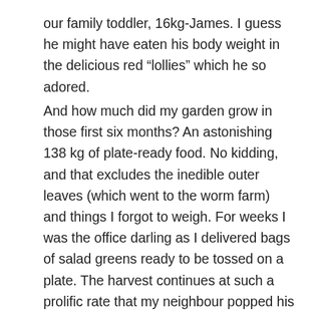our family toddler, 16kg-James. I guess he might have eaten his body weight in the delicious red “lollies” which he so adored. And how much did my garden grow in those first six months? An astonishing 138 kg of plate-ready food. No kidding, and that excludes the inedible outer leaves (which went to the worm farm) and things I forgot to weigh. For weeks I was the office darling as I delivered bags of salad greens ready to be tossed on a plate. The harvest continues at such a prolific rate that my neighbour popped his head above the fence and suggested I open a stall at the end of our drive. Instead, I’ve shared the story of the design, build and harvest of my courtyard garden in our latest special edition In Your Backyard – Urban Harvest.